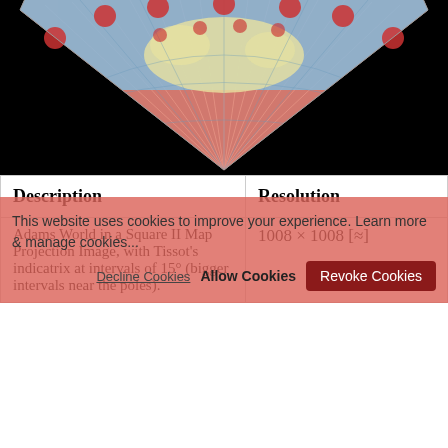[Figure (illustration): Fan-shaped map projection diagram on black background, showing Adams World in a Square II Map Projection with Tissot indicatrix circles. Fan has salmon/coral colored lower portion with radiating lines and light blue upper portion with a world map and red circular Tissot indicatrix markers.]
| Description | Resolution |
| --- | --- |
| Adams World in a Square II Map Projection Image, with Tissot's indicatrix at intervals of 15° (bigger intervals near the poles). | 1008 × 1008 [≈] |